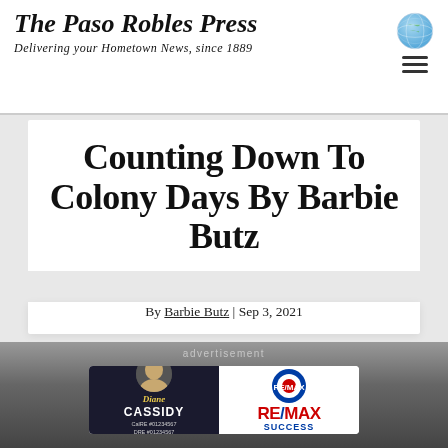The Paso Robles Press
Delivering your Hometown News, since 1889
Counting Down To Colony Days By Barbie Butz
By Barbie Butz | Sep 3, 2021
[Figure (photo): Vintage typewriter photo as article hero image]
[Figure (infographic): RE/MAX Success advertisement banner featuring Diana Cassidy]